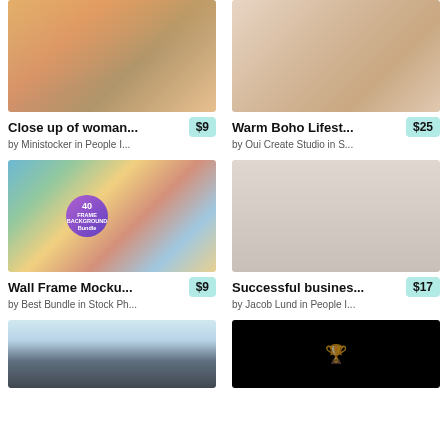[Figure (photo): Close up of woman's feet walking up stairs with sunlight]
Close up of woman...
$9
by Ministocker in People I...
[Figure (photo): Warm Boho lifestyle mood board collage with neutral tones]
Warm Boho Lifest...
$25
by Oui Create Studio in S...
[Figure (photo): Wall Frame Mockup bundle with 40 frame background scenes]
Wall Frame Mocku...
$9
by Best Bundle in Stock Ph...
[Figure (photo): Successful business people group smiling together]
Successful busines...
$17
by Jacob Lund in People I...
[Figure (photo): House rooftop with sky background]
[Figure (photo): Dark background with trophy icon]